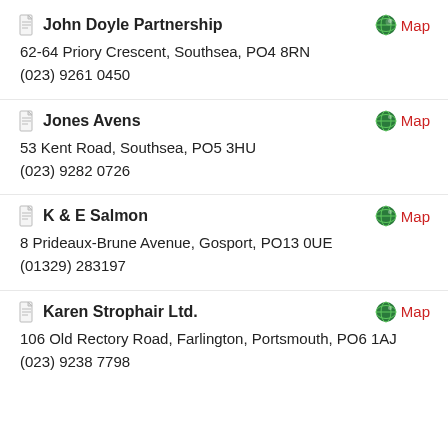John Doyle Partnership
62-64 Priory Crescent, Southsea, PO4 8RN
(023) 9261 0450
Jones Avens
53 Kent Road, Southsea, PO5 3HU
(023) 9282 0726
K & E Salmon
8 Prideaux-Brune Avenue, Gosport, PO13 0UE
(01329) 283197
Karen Strophair Ltd.
106 Old Rectory Road, Farlington, Portsmouth, PO6 1AJ
(023) 9238 7798